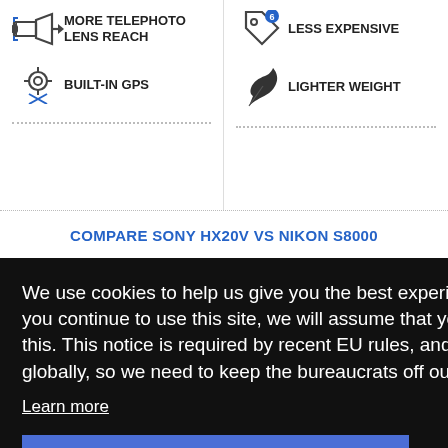MORE TELEPHOTO LENS REACH
LESS EXPENSIVE
BUILT-IN GPS
LIGHTER WEIGHT
COMPARE SONY HX20V vs NIKON S8000
We use cookies to help us give you the best experience on IR. If you continue to use this site, we will assume that you're happy with this. This notice is required by recent EU rules, and IR is read globally, so we need to keep the bureaucrats off our case!
Learn more
Got it!
[Figure (photo): Bottom section showing camera images partially visible]
[Figure (photo): Partial view of camera on right side]